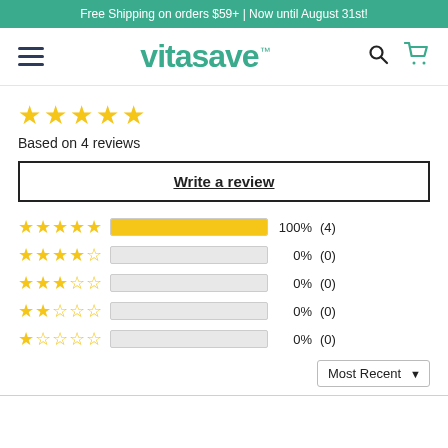Free Shipping on orders $59+ | Now until August 31st!
[Figure (logo): Vitasave logo with hamburger menu, search icon, and cart icon navigation bar]
Based on 4 reviews
Write a review
| Stars | Bar | Percent | Count |
| --- | --- | --- | --- |
| 5 stars | 100% | 100% | (4) |
| 4 stars | 0% | 0% | (0) |
| 3 stars | 0% | 0% | (0) |
| 2 stars | 0% | 0% | (0) |
| 1 star | 0% | 0% | (0) |
Most Recent